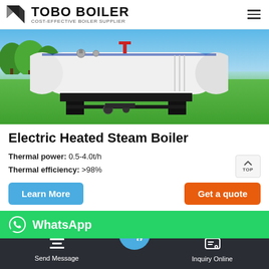[Figure (logo): TOBO BOILER logo with geometric icon and text 'TOBO BOILER / COST-EFFECTIVE BOILER SUPPLIER']
[Figure (photo): Industrial electric heated steam boiler (white cylindrical tank on black frame) on green grass with blue sky background]
Electric Heated Steam Boiler
Thermal power: 0.5-4.0t/h
Thermal efficiency: >98%
[Figure (infographic): Learn More button (blue) and Get a quote button (orange)]
[Figure (infographic): WhatsApp bar (green) with WhatsApp icon and 'WhatsApp' text]
Send Message | Inquiry Online